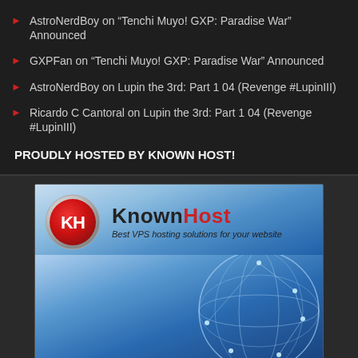AstroNerdBoy on “Tenchi Muyo! GXP: Paradise War” Announced
GXPFan on “Tenchi Muyo! GXP: Paradise War” Announced
AstroNerdBoy on Lupin the 3rd: Part 1 04 (Revenge #LupinIII)
Ricardo C Cantoral on Lupin the 3rd: Part 1 04 (Revenge #LupinIII)
PROUDLY HOSTED BY KNOWN HOST!
[Figure (advertisement): KnownHost advertisement banner showing logo with red KH shield emblem, brand name KnownHost, tagline 'Best VPS hosting solutions for your website', globe network graphic, and bullet points: 24/7 Fully Managed Support, Best Uptime in the Industry, Free Backup and Free Migration]